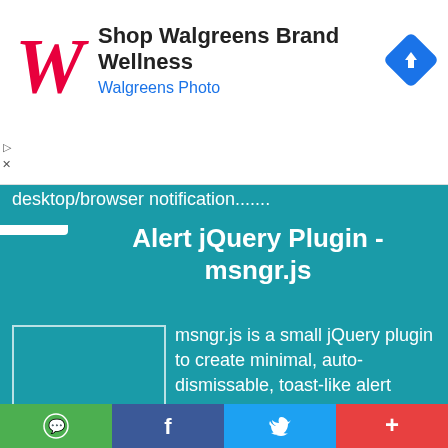[Figure (screenshot): Walgreens advertisement banner with cursive W logo, text 'Shop Walgreens Brand Wellness' and 'Walgreens Photo', and a blue diamond navigation arrow icon]
Push Notification Style Alert jQuery Plugin - msngr.js
[Figure (other): Empty white-bordered placeholder image box on teal background]
msngr.js is a small jQuery plugin to create minimal, auto-dismissable, toast-like alert popups with circular progress bars similar to the desktop/browser notification.......
[Figure (other): Social sharing bar with WhatsApp (green), Facebook (dark blue), Twitter (light blue), and More (+) (red) buttons]